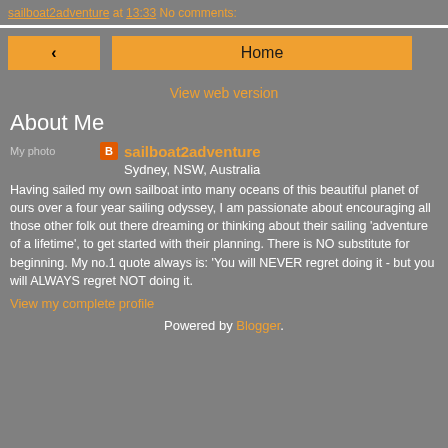sailboat2adventure at 13:33   No comments:
< Home  View web version
About Me
sailboat2adventure
Sydney, NSW, Australia

Having sailed my own sailboat into many oceans of this beautiful planet of ours over a four year sailing odyssey, I am passionate about encouraging all those other folk out there dreaming or thinking about their sailing 'adventure of a lifetime', to get started with their planning. There is NO substitute for beginning. My no.1 quote always is: 'You will NEVER regret doing it - but you will ALWAYS regret NOT doing it.
View my complete profile
Powered by Blogger.